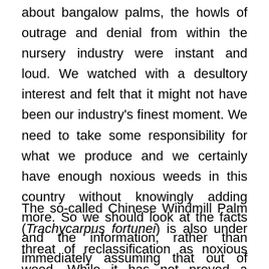about bangalow palms, the howls of outrage and denial from within the nursery industry were instant and loud. We watched with a desultory interest and felt that it might not have been our industry's finest moment. We need to take some responsibility for what we produce and we certainly have enough noxious weeds in this country without knowingly adding more. So we should look at the facts and the information, rather than immediately assuming that out of control bureaucrats are trying to control our livelihoods. The howls of alarm were such that the proposals to ban its sale were put on the back burner and its status is part of a five year review so nothing will happen quickly.
The so-called Chinese Windmill Palm (Trachycarpus fortunei) is also under threat of reclassification as noxious weed. While it has not proved a problem here in our